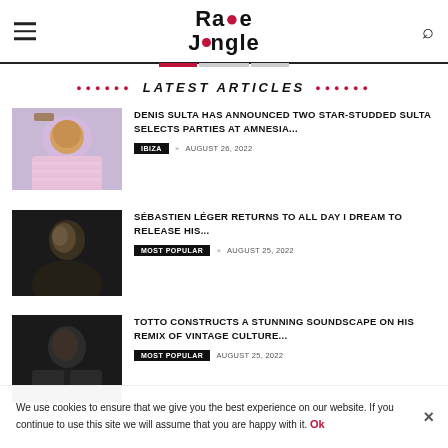Rave Jungle
LATEST ARTICLES
[Figure (photo): DJ or musician at equipment, wearing striped pink shirt]
DENIS SULTA HAS ANNOUNCED TWO STAR-STUDDED SULTA SELECTS PARTIES AT AMNESIA...
IBIZA × AUGUST 26, 2022
[Figure (photo): Dark portrait of person in profile against black background]
SÉBASTIEN LÉGER RETURNS TO ALL DAY I DREAM TO RELEASE HIS...
MOST POPULAR × AUGUST 25, 2022
[Figure (photo): Dark portrait of person in jacket]
TOTTO CONSTRUCTS A STUNNING SOUNDSCAPE ON HIS REMIX OF VINTAGE CULTURE...
MOST POPULAR   AUGUST 25, 2022
We use cookies to ensure that we give you the best experience on our website. If you continue to use this site we will assume that you are happy with it. Ok